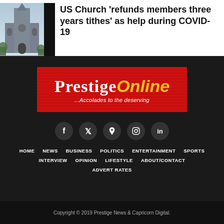US Church 'refunds members three years tithes' as help during COVID-19
[Figure (photo): Photograph of a large Gothic cathedral exterior with dark sidebar]
[Figure (logo): Prestige Online logo banner — red background with white 'Prestige' in blackletter and yellow italic 'Online', tagline '...Accolades to the deserving']
[Figure (other): Social media icons: Facebook, Twitter, Pinterest, Instagram, LinkedIn]
HOME   NEWS   BUSINESS   POLITICS   ENTERTAINMENT   SPORTS   INTERVIEW   OPINION   LIFESTYLE   ABOUT/CONTACT   ADVERT RATES
Copyright © 2019 Prestige News & Capricorn Digital.